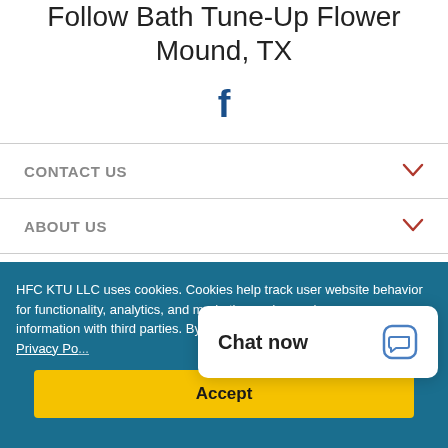Follow Bath Tune-Up Flower Mound, TX
[Figure (logo): Facebook logo icon in dark blue]
CONTACT US
ABOUT US
FAMILY OF BRANDS
HFC KTU LLC uses cookies. Cookies help track user website behavior for functionality, analytics, and marketing and may share your information with third parties. By visiting this we... out more review our Privacy Po...
Chat now
Accept